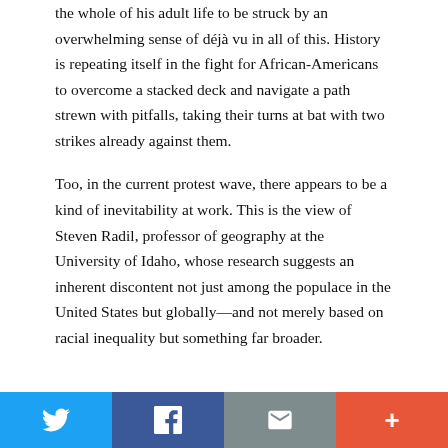the whole of his adult life to be struck by an overwhelming sense of déjà vu in all of this. History is repeating itself in the fight for African-Americans to overcome a stacked deck and navigate a path strewn with pitfalls, taking their turns at bat with two strikes already against them.
Too, in the current protest wave, there appears to be a kind of inevitability at work. This is the view of Steven Radil, professor of geography at the University of Idaho, whose research suggests an inherent discontent not just among the populace in the United States but globally—and not merely based on racial inequality but something far broader.